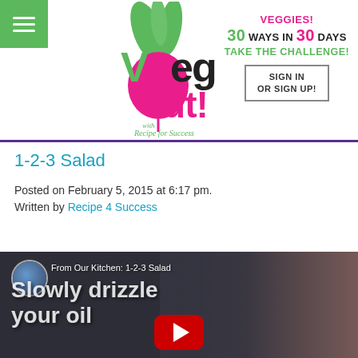[Figure (logo): Veg Out! with Recipe for Success logo — green radish with leaves, pink circle]
VEGGIES! 30 WAYS IN 30 DAYS TAKE THE CHALLENGE!
SIGN IN OR SIGN UP!
1-2-3 Salad
Posted on February 5, 2015 at 6:17 pm.
Written by Recipe 4 Success
[Figure (screenshot): Video thumbnail for 'From Our Kitchen: 1-2-3 Salad' showing text 'Slowly drizzle your oil' with YouTube play button]